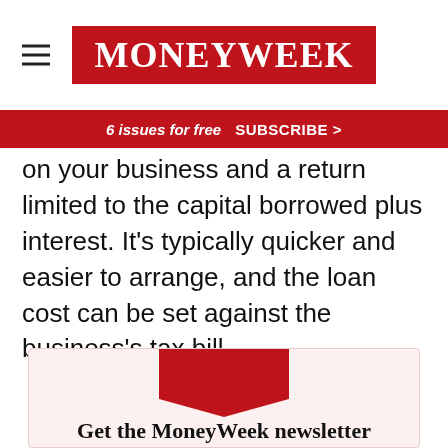MoneyWeek
6 issues for free   SUBSCRIBE >
on your business and a return limited to the capital borrowed plus interest. It's typically quicker and easier to arrange, and the loan cost can be set against the business's tax bill.
Get the MoneyWeek newsletter
Get free daily newsletter from MoneyWeek, delivering the latest news, reviews, insights and case studies